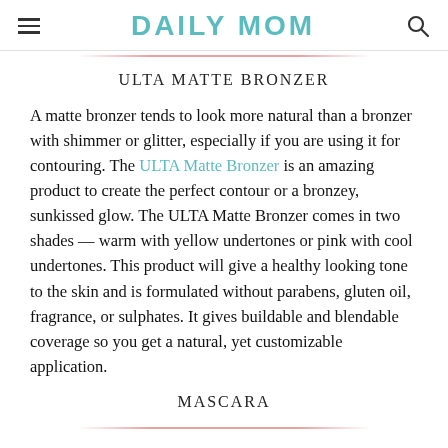DAILY MOM
ULTA MATTE BRONZER
A matte bronzer tends to look more natural than a bronzer with shimmer or glitter, especially if you are using it for contouring. The ULTA Matte Bronzer is an amazing product to create the perfect contour or a bronzey, sunkissed glow. The ULTA Matte Bronzer comes in two shades — warm with yellow undertones or pink with cool undertones. This product will give a healthy looking tone to the skin and is formulated without parabens, gluten oil, fragrance, or sulphates. It gives buildable and blendable coverage so you get a natural, yet customizable application.
MASCARA